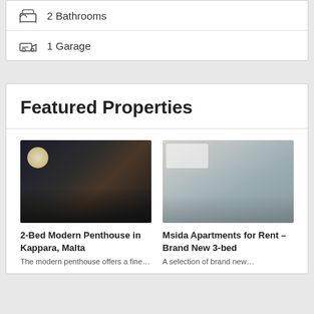2 Bathrooms
1 Garage
Featured Properties
[Figure (photo): Interior photo of a modern kitchen with dark cabinets, bar stools, and dining chairs - 2-Bed Modern Penthouse in Kappara, Malta]
2-Bed Modern Penthouse in Kappara, Malta
[Figure (photo): Interior photo of a bright open-plan dining and living area with modern furniture - Msida Apartments for Rent - Brand New 3-bed]
Msida Apartments for Rent – Brand New 3-bed